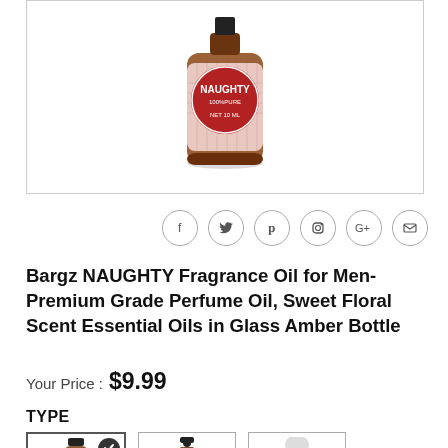[Figure (photo): Amber glass bottle with red NAUGHTY label showing 100% Pure, Net 10 ML]
[Figure (infographic): Social media share icons: Facebook, Twitter, Pinterest, Instagram, Google+, Email]
Bargz NAUGHTY Fragrance Oil for Men- Premium Grade Perfume Oil, Sweet Floral Scent Essential Oils in Glass Amber Bottle
Your Price : $9.99
TYPE
[Figure (photo): Three product type option images showing different bottle styles: dropper cap bottle (selected), dropper bottle, and roller bottle]